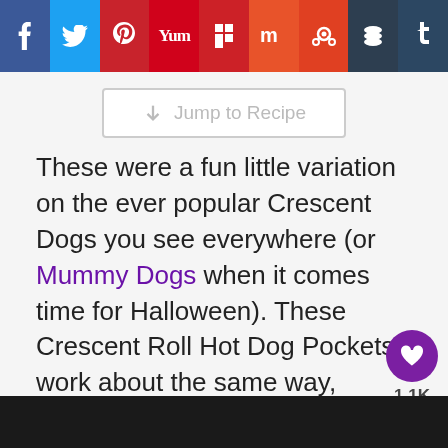[Figure (other): Social media sharing toolbar with icons for Facebook, Twitter, Pinterest, Yummly, Flipboard, Mix, Reddit, Buffer, and Tumblr]
Jump to Recipe
These were a fun little variation on the ever popular Crescent Dogs you see everywhere (or Mummy Dogs when it comes time for Halloween). These Crescent Roll Hot Dog Pockets work about the same way, except they're a smaller version and pressed into a sandwich maker.
[Figure (other): Floating action buttons: purple heart icon with 1.1K count and share icon]